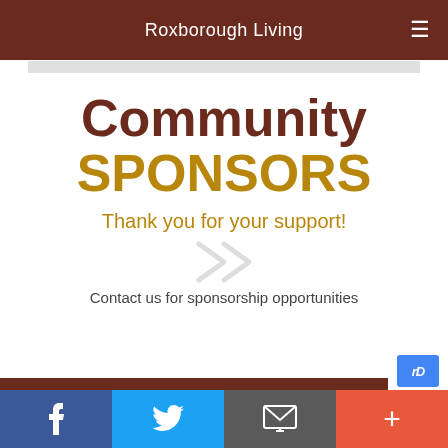Roxborough Living
Community SPONSORS
Thank you for your support!
Contact us for sponsorship opportunities
Facebook | Twitter | Email | More